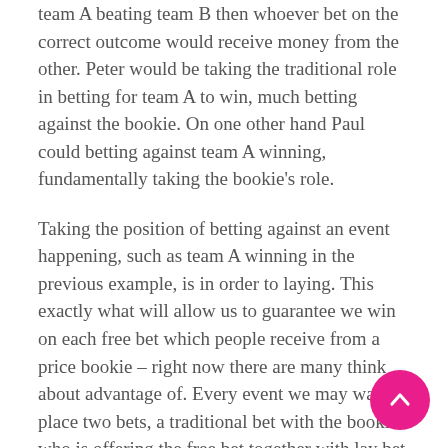team A beating team B then whoever bet on the correct outcome would receive money from the other. Peter would be taking the traditional role in betting for team A to win, much betting against the bookie. On one other hand Paul could betting against team A winning, fundamentally taking the bookie's role.
Taking the position of betting against an event happening, such as team A winning in the previous example, is in order to laying. This exactly what will allow us to guarantee we win on each free bet which people receive from a price bookie – right now there are many think about advantage of. Every event we may want to place two bets, a traditional bet with the bookie who is offering the free bet together with lay bet along with a betting exchange. Let me give you an example to clarify particular